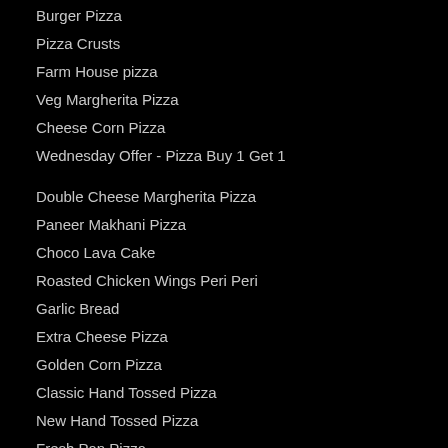Burger Pizza
Pizza Crusts
Farm House pizza
Veg Margherita Pizza
Cheese Corn Pizza
Wednesday Offer - Pizza Buy 1 Get 1
Double Cheese Margherita Pizza
Paneer Makhani Pizza
Choco Lava Cake
Roasted Chicken Wings Peri Peri
Garlic Bread
Extra Cheese Pizza
Golden Corn Pizza
Classic Hand Tossed Pizza
New Hand Tossed Pizza
Fresh Pan Pizza
Paneer Zingy Parcel
Stuffed Garlic Bread